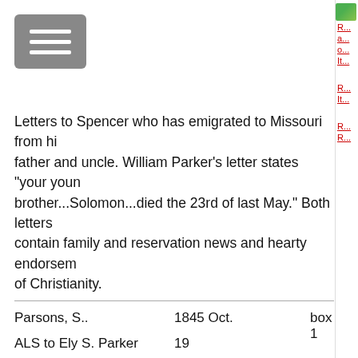[Figure (other): Hamburger menu button (three horizontal white lines on grey rounded rectangle background)]
Letters to Spencer who has emigrated to Missouri from his father and uncle. William Parker's letter states "your young brother...Solomon...died the 23rd of last May." Both letters contain family and reservation news and hearty endorsements of Christianity.
|  |  |  |  |
| --- | --- | --- | --- |
| Parsons, S.. | 1845 Oct. | box 1 |  |
| ALS to Ely S. Parker | 19 |  |  |